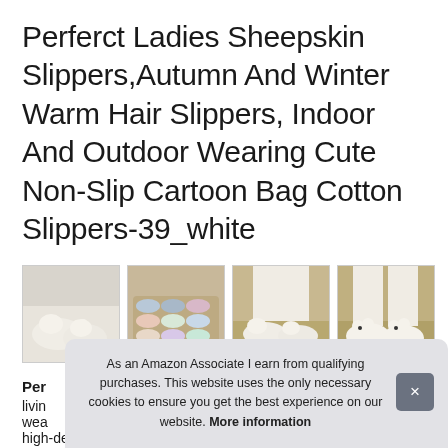Perferct Ladies Sheepskin Slippers,Autumn And Winter Warm Hair Slippers, Indoor And Outdoor Wearing Cute Non-Slip Cartoon Bag Cotton Slippers-39_white
[Figure (photo): Four product thumbnail images of cartoon sheepskin slippers. First image: white fluffy bear face slippers on a bed. Second image: multiple pairs of colorful slippers arranged on a wooden tray. Third image: white slippers worn on feet standing on a woven mat. Fourth image: white bear slippers worn on feet, close-up view.]
Perferct
livin
wea
high-density plush insoles that can take care of your feet and
As an Amazon Associate I earn from qualifying purchases. This website uses the only necessary cookies to ensure you get the best experience on our website. More information